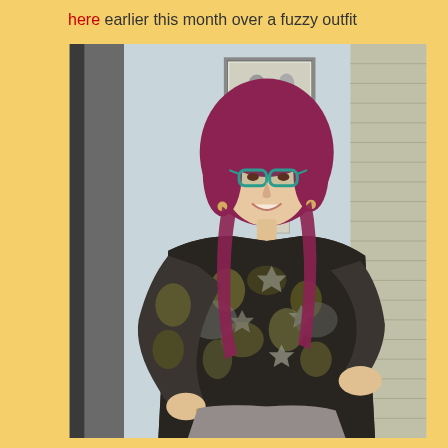here earlier this month over a fuzzy outfit
[Figure (photo): A woman with purple/magenta hair wearing teal cat-eye glasses, smiling, dressed in a patterned long-sleeve top with floral and geometric prints in dark, olive, and grey tones, paired with a grey skirt. She is posing with one hand on her hip in what appears to be a home interior with a dark panel on the left, a framed artwork on the wall behind, and louvered shutters on the right.]